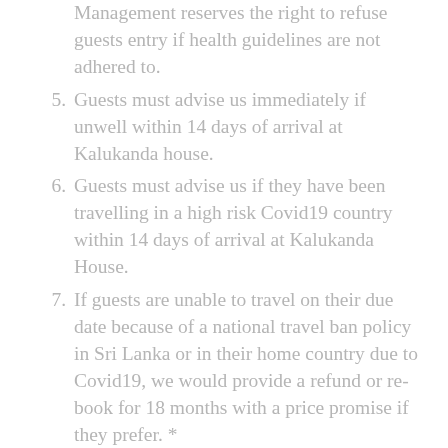Management reserves the right to refuse guests entry if health guidelines are not adhered to.
Guests must advise us immediately if unwell within 14 days of arrival at Kalukanda house.
Guests must advise us if they have been travelling in a high risk Covid19 country within 14 days of arrival at Kalukanda House.
If guests are unable to travel on their due date because of a national travel ban policy in Sri Lanka or in their home country due to Covid19, we would provide a refund or re-book for 18 months with a price promise if they prefer. *
If guests or a member of their booking party are disinclined to travel due to Covid19 reasons they must approach their insurers in the first instance. In the event that insurance does not cover the specific circumstance we would offer the option to